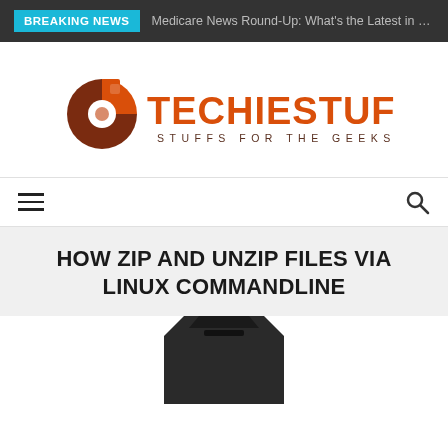BREAKING NEWS | Medicare News Round-Up: What's the Latest in Medicare This Summ
[Figure (logo): TechieStuffs logo — orange/brown gear icon on left, bold orange TECHIESTUFFS text, subtitle STUFFS FOR THE GEEKS]
[Figure (other): Navigation bar with hamburger menu icon on left and search icon on right]
HOW ZIP AND UNZIP FILES VIA LINUX COMMANDLINE
[Figure (photo): Partial view of a dark-colored USB or electronic device at the bottom of the page]